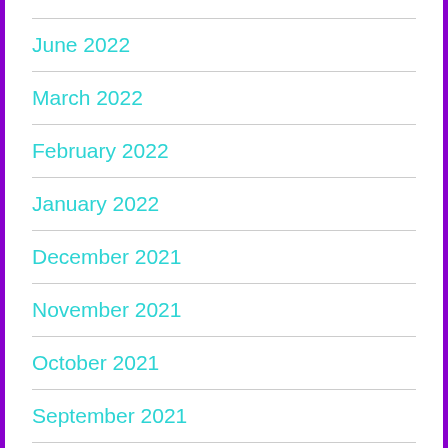June 2022
March 2022
February 2022
January 2022
December 2021
November 2021
October 2021
September 2021